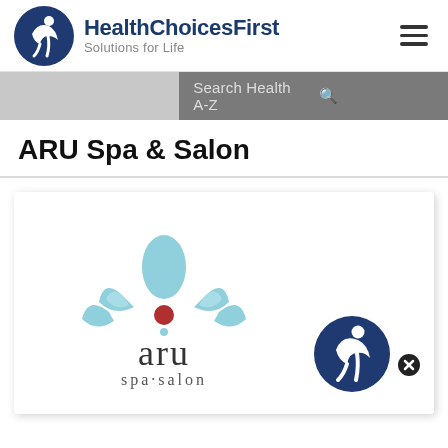[Figure (logo): HealthChoicesFirst Solutions for Life logo — blue circle with white figure, bold dark blue text]
[Figure (screenshot): Search Health A-Z bar with magnifying glass icon on grey background]
ARU Spa & Salon
[Figure (logo): ARU spa salon logo — light blue water drop and leaf/petal shapes with a red circle accent, text 'aru spa·salon' in dark grey below]
[Figure (logo): HealthChoicesFirst small circular logo overlay in bottom right of card with close X button]